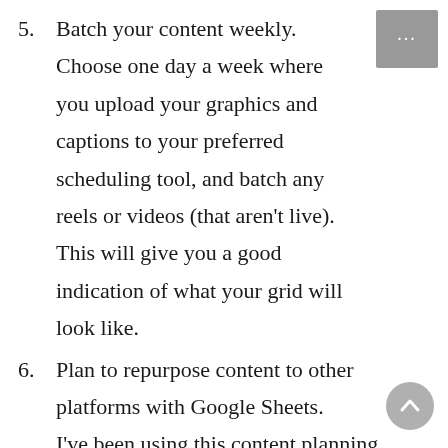5. Batch your content weekly. Choose one day a week where you upload your graphics and captions to your preferred scheduling tool, and batch any reels or videos (that aren't live). This will give you a good indication of what your grid will look like.
6. Plan to repurpose content to other platforms with Google Sheets. I've been using this content planning method for a few years now and it is incredible to see the conversions increase and time free up. I also make